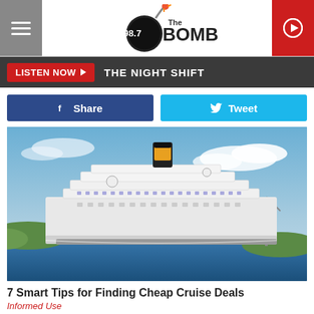98.7 The Bomb
LISTEN NOW ▶  THE NIGHT SHIFT
Share  Tweet
[Figure (photo): Large cruise ship with orange-topped smokestack sailing on blue water with cloudy sky and green coastline in background]
7 Smart Tips for Finding Cheap Cruise Deals
Informed Use